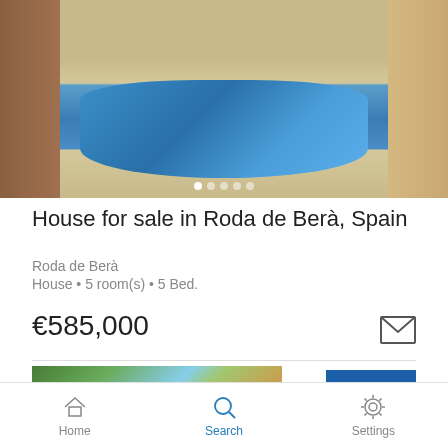[Figure (photo): Property listing photo showing a swimming pool with stone/tile decking area, surrounded by walls, with wooden pergola structure in the background. Image slider with 5 navigation dots at bottom.]
House for sale in Roda de Berà, Spain
Roda de Berà
House • 5 room(s) • 5 Bed.
€585,000
[Figure (logo): IAD real estate agency logo - white text 'iad' on blue background]
[Figure (photo): Second property listing photo showing a Mediterranean-style house with palm trees and other vegetation in foreground, against blue sky]
Home  Search  Settings